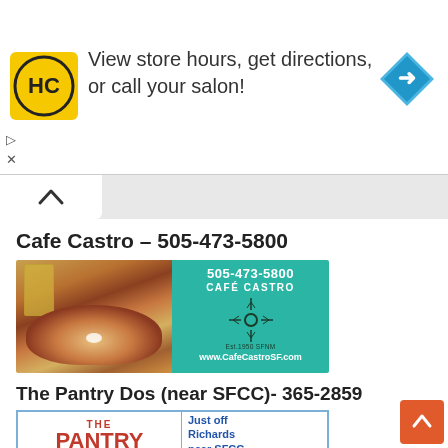[Figure (infographic): Ad banner with HC logo, text 'View store hours, get directions, or call your salon!', and a blue navigation arrow icon]
View store hours, get directions, or call your salon!
Cafe Castro – 505-473-5800
[Figure (photo): Composite image: left side shows a plate of New Mexican food with enchiladas, beans, and garnishes plus a glass of beer; right side shows Cafe Castro teal advertisement with phone number 505-473-5800, logo with Zia sun symbol, and website www.CafeCastroSF.com]
The Pantry Dos (near SFCC)- 365-2859
[Figure (infographic): The Pantry Dos advertisement card: left side shows 'THE PANTRY Dos' in red and blue script; right side shows 'Just off Richards near SFCC', '20 White Feather · Santa Fe, NM', 'thepantrydos.com · 505.365.2859']